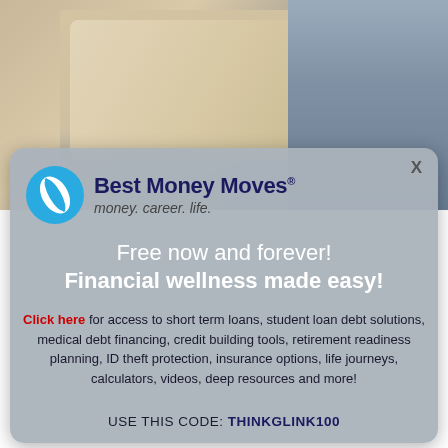[Figure (photo): Background photo showing a beige/cream sofa cushion with blue-grey decorative pillow or vase in the upper right]
[Figure (logo): Best Money Moves logo — blue circular leaf icon with the text 'Best Money Moves®' in dark navy bold and tagline 'money. career. life.' in smaller italic text]
Free now and forever!
Financial wellness made easy!
Click here for access to short term loans, student loan debt solutions, medical debt financing, credit building tools, retirement readiness planning, ID theft protection, insurance options, life journeys, calculators, videos, deep resources and more!
USE THIS CODE: THINKGLINK100